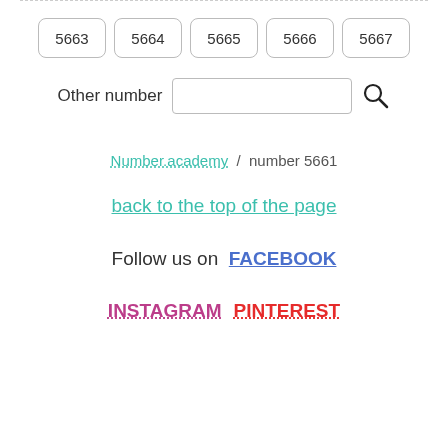5663  5664  5665  5666  5667
Other number [search input]
Number.academy / number 5661
back to the top of the page
Follow us on  FACEBOOK
INSTAGRAM  PINTEREST